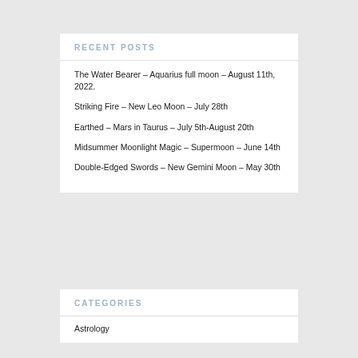RECENT POSTS
The Water Bearer – Aquarius full moon – August 11th, 2022.
Striking Fire – New Leo Moon – July 28th
Earthed – Mars in Taurus – July 5th-August 20th
Midsummer Moonlight Magic – Supermoon – June 14th
Double-Edged Swords – New Gemini Moon – May 30th
CATEGORIES
Astrology